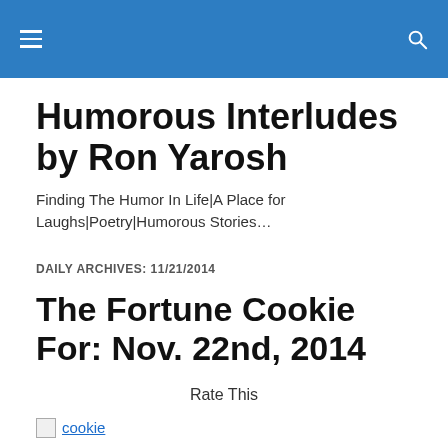Humorous Interludes by Ron Yarosh
Finding The Humor In Life|A Place for Laughs|Poetry|Humorous Stories…
DAILY ARCHIVES: 11/21/2014
The Fortune Cookie For: Nov. 22nd, 2014
Rate This
[Figure (photo): cookie image placeholder with broken image icon and label 'cookie']